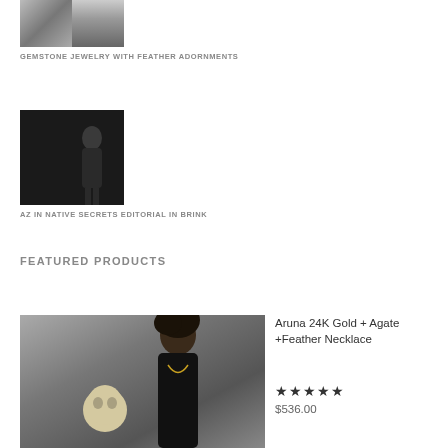[Figure (photo): Small composite photo showing gemstone jewelry and a woman with feather adornments]
GEMSTONE JEWELRY WITH FEATHER ADORNMENTS
[Figure (photo): Dark editorial photo of a woman in native-inspired clothing with text overlay reading 'Native Secrets']
AZ IN NATIVE SECRETS EDITORIAL IN BRINK
FEATURED PRODUCTS
[Figure (photo): Fashion photo of a woman with natural hair holding a skull, wearing a gold necklace]
Aruna 24K Gold + Agate +Feather Necklace
★★★★★
$536.00